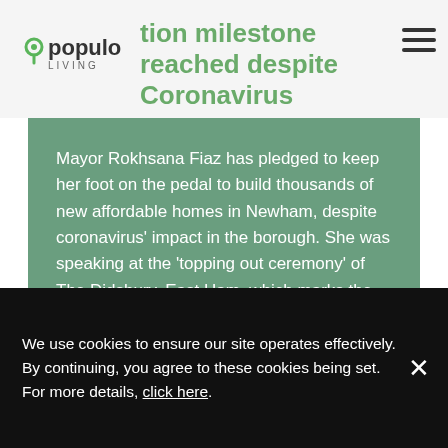Populo Living — Construction milestone reached despite Coronavirus
Mayor Rokhsana Fiaz has pledged to keep her foot on the pedal to build thousands of new affordable homes in Newham, despite coronavirus' impact in the borough. She was speaking at the 'topping out ceremony' of The Didsbury, East Ham, which marks the end of the first phase of the £35.8m residential development by Newham.
READ THE FULL STORY ›
We use cookies to ensure our site operates effectively. By continuing, you agree to these cookies being set. For more details, click here.